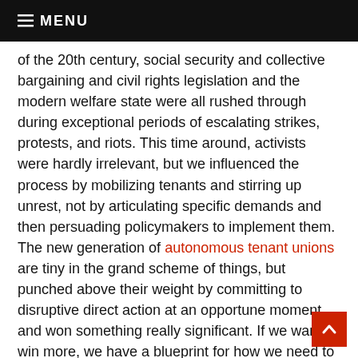≡ MENU
of the 20th century, social security and collective bargaining and civil rights legislation and the modern welfare state were all rushed through during exceptional periods of escalating strikes, protests, and riots. This time around, activists were hardly irrelevant, but we influenced the process by mobilizing tenants and stirring up unrest, not by articulating specific demands and then persuading policymakers to implement them. The new generation of autonomous tenant unions are tiny in the grand scheme of things, but punched above their weight by committing to disruptive direct action at an opportune moment and won something really significant. If we want to win more, we have a blueprint for how we need to do it.
Ray Valentine is a member of Stomp Out